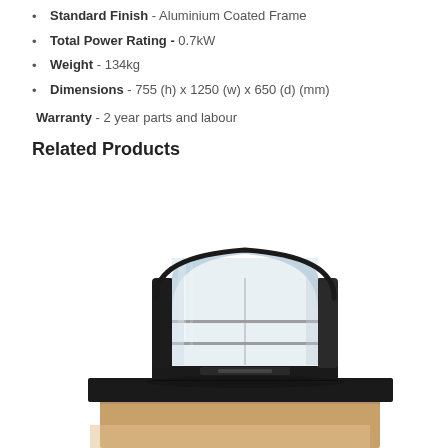Standard Finish - Aluminium Coated Frame
Total Power Rating - 0.7kW
Weight - 134kg
Dimensions - 755 (h) x 1250 (w) x 650 (d) (mm)
Warranty - 2 year parts and labour
Related Products
[Figure (photo): A curved glass heated display unit / food warmer cabinet with black frame, two wire shelves visible, seated on a wooden counter/pedestal. The unit has a panoramic curved glass front and sides.]